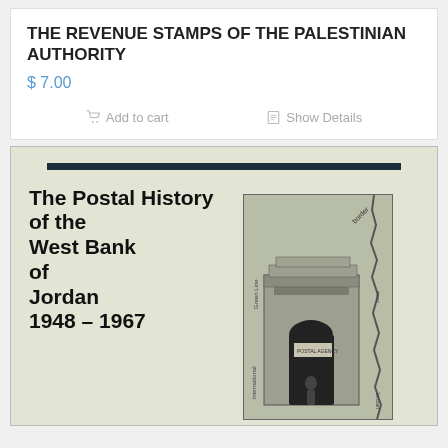THE REVENUE STAMPS OF THE PALESTINIAN AUTHORITY
$ 7.00
Add to cart
Show Details
[Figure (illustration): Book cover: 'The Postal History of the West Bank of Jordan 1948 – 1967' with a sketch/illustration of an archway building and a map overlay showing border, Green Line, international, river, Jordan labels.]